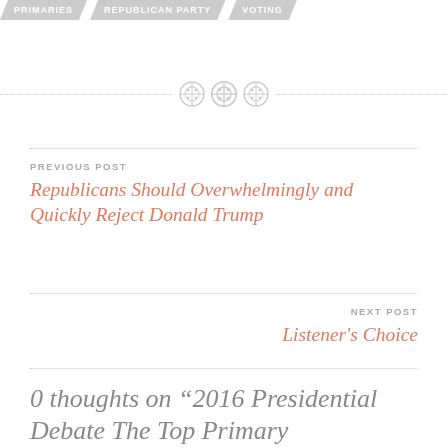PRIMARIES   REPUBLICAN PARTY   VOTING
[Figure (illustration): Three decorative button icons with dotted separator line]
PREVIOUS POST
Republicans Should Overwhelmingly and Quickly Reject Donald Trump
NEXT POST
Listener's Choice
0 thoughts on “2016 Presidential Debate The Top Primary Candidates”